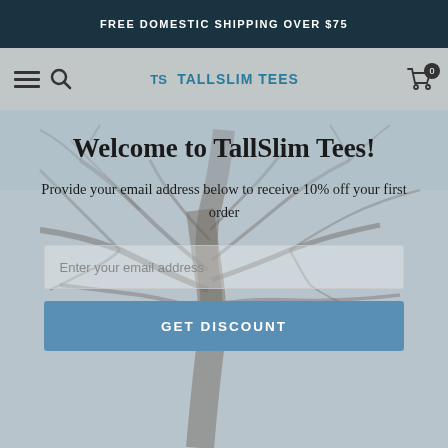FREE DOMESTIC SHIPPING OVER $75
[Figure (logo): TallSlim Tees navigation bar with hamburger menu, search icon, logo, and cart icon showing 0 items]
Welcome to TallSlim Tees!
Provide your email address below to receive 10% off your first order
Enter your email address
GET DISCOUNT